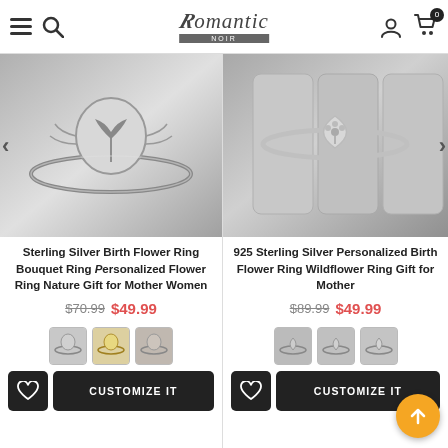Romantic Noir — navigation header with hamburger menu, search, logo, user icon, and cart (0 items)
[Figure (photo): Sterling silver ring with engraved tree/flower motif on oval signet face — left product photo]
[Figure (photo): 925 Sterling silver ring with wildflower engraving on pointed oval face, displayed on ring holder — right product photo]
Sterling Silver Birth Flower Ring Bouquet Ring Personalized Flower Ring Nature Gift for Mother Women
$70.99 $49.99
925 Sterling Silver Personalized Birth Flower Ring Wildflower Ring Gift for Mother
$89.99 $49.99
[Figure (photo): Three thumbnail variant images for left product]
[Figure (photo): Three thumbnail variant images for right product]
CUSTOMIZE IT (left product button)
CUSTOMIZE IT (right product button)